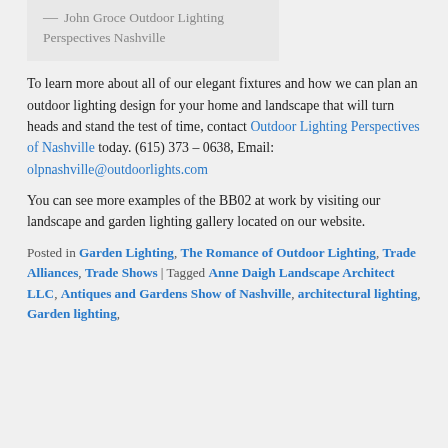— John Groce Outdoor Lighting Perspectives Nashville
To learn more about all of our elegant fixtures and how we can plan an outdoor lighting design for your home and landscape that will turn heads and stand the test of time, contact Outdoor Lighting Perspectives of Nashville today. (615) 373 – 0638, Email: olpnashville@outdoorlights.com
You can see more examples of the BB02 at work by visiting our landscape and garden lighting gallery located on our website.
Posted in Garden Lighting, The Romance of Outdoor Lighting, Trade Alliances, Trade Shows | Tagged Anne Daigh Landscape Architect LLC, Antiques and Gardens Show of Nashville, architectural lighting, Garden lighting,